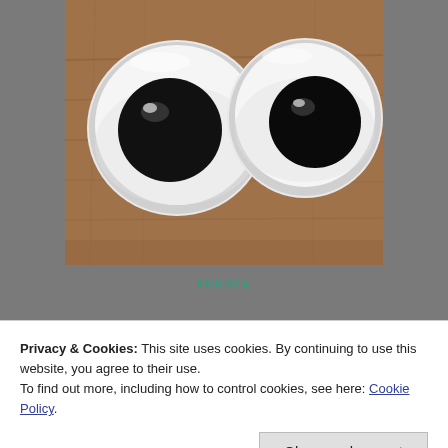[Figure (photo): Two large googly craft eyes (black pupils with white surrounds) sitting on a wooden surface, photographed from above.]
SOURCE
I didn't know my eyes had tongue. My aching body desperately wanted to take a
Privacy & Cookies: This site uses cookies. By continuing to use this website, you agree to their use.
To find out more, including how to control cookies, see here: Cookie Policy
Close and accept